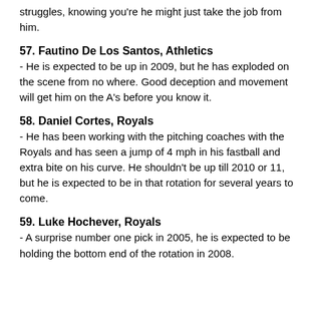struggles, knowing you're he might just take the job from him.
57. Fautino De Los Santos, Athletics
- He is expected to be up in 2009, but he has exploded on the scene from no where. Good deception and movement will get him on the A's before you know it.
58. Daniel Cortes, Royals
- He has been working with the pitching coaches with the Royals and has seen a jump of 4 mph in his fastball and extra bite on his curve. He shouldn't be up till 2010 or 11, but he is expected to be in that rotation for several years to come.
59. Luke Hochever, Royals
- A surprise number one pick in 2005, he is expected to be holding the bottom end of the rotation in 2008.